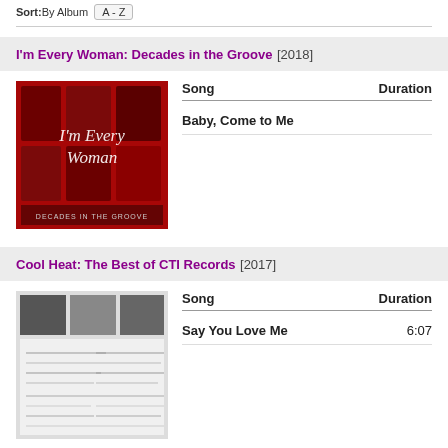Sort: By Album   A - Z
I'm Every Woman: Decades in the Groove [2018]
[Figure (photo): Album cover for I'm Every Woman: Decades in the Groove - red-toned collage of musicians with cursive I'm Every Woman text]
| Song | Duration |
| --- | --- |
| Baby, Come to Me |  |
Cool Heat: The Best of CTI Records [2017]
[Figure (photo): Album cover for Cool Heat: The Best of CTI Records - grid of black and white photos with text tracklist]
| Song | Duration |
| --- | --- |
| Say You Love Me | 6:07 |